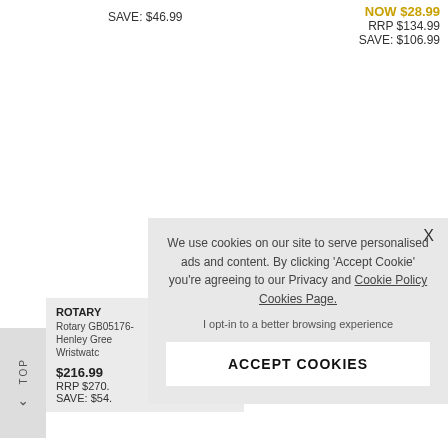SAVE: $46.99
NOW $28.99
RRP $134.99
SAVE: $106.99
ROTARY
Rotary GB05176-
Henley Gree
Wristwatc
$216.99
RRP $270.
SAVE: $54.
TOP
We use cookies on our site to serve personalised ads and content. By clicking 'Accept Cookie' you're agreeing to our Privacy and Cookie Policy Cookies Page.
I opt-in to a better browsing experience
ACCEPT COOKIES